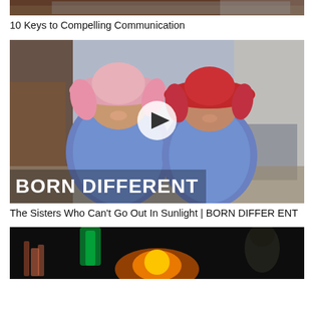[Figure (photo): Partially visible top image cropped at the top of the page showing people in a dark setting]
10 Keys to Compelling Communication
[Figure (photo): Two young girls wearing wide-brimmed hats and blue floral outfits standing indoors. Text overlay reads BORN DIFFERENT with a video play button overlay in center.]
The Sisters Who Can't Go Out In Sunlight | BORN DIFFERENT
[Figure (photo): Dark image showing fire and green light with silhouetted hands visible]